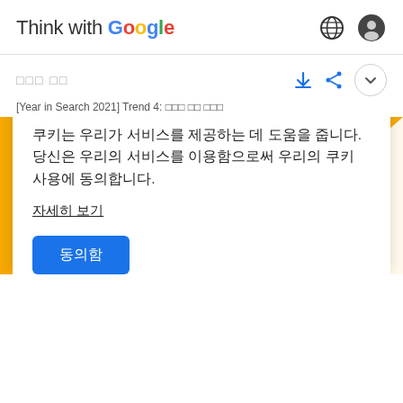Think with Google
□□□ □□
[Year in Search 2021] Trend 4: □□□ □□ □□□
[Figure (photo): Yellow background with silhouette of a seated person's legs and sneakers]
쿠키는 우리가 서비스를 제공하는 데 도움을 줍니다. 당신은 우리의 서비스를 이용함으로써 우리의 쿠키 사용에 동의합니다.
자세히 보기
동의함